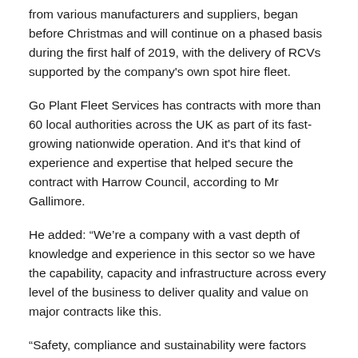from various manufacturers and suppliers, began before Christmas and will continue on a phased basis during the first half of 2019, with the delivery of RCVs supported by the company's own spot hire fleet.
Go Plant Fleet Services has contracts with more than 60 local authorities across the UK as part of its fast-growing nationwide operation. And it's that kind of experience and expertise that helped secure the contract with Harrow Council, according to Mr Gallimore.
He added: “We’re a company with a vast depth of knowledge and experience in this sector so we have the capability, capacity and infrastructure across every level of the business to deliver quality and value on major contracts like this.
“Safety, compliance and sustainability were factors very much at the heart of the deal and there are a significant number of Key Performance Indicators to meet during the life of the contract. But we operate to the highest industry standards and we’ve made commitments our clients will confirm that we work from…